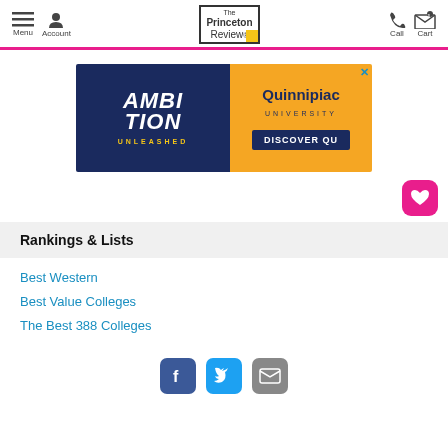Menu | Account | The Princeton Review | Call | Cart
[Figure (illustration): Quinnipiac University advertisement banner: Left half dark navy background with 'AMBITION UNLEASHED' text in white/yellow. Right half yellow/gold background with 'Quinnipiac UNIVERSITY' and 'DISCOVER QU' button in navy.]
[Figure (other): Pink heart icon button (favorites/save button)]
Rankings & Lists
Best Western
Best Value Colleges
The Best 388 Colleges
Facebook | Twitter | Email social icons